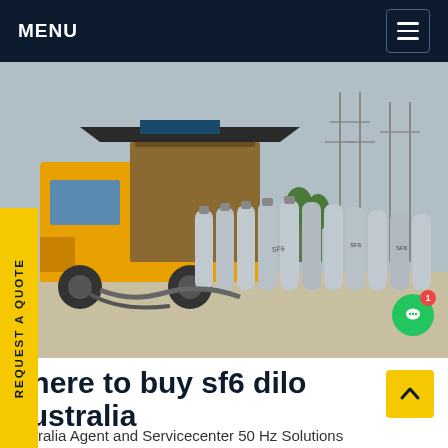MENU
[Figure (photo): Yellow service truck and SF6 gas cylinders at an electrical substation with power line towers in the background]
REQUEST A QUOTE
where to buy sf6 dilo Australia
Australia Agent and Servicecenter 50 Hz Solutions